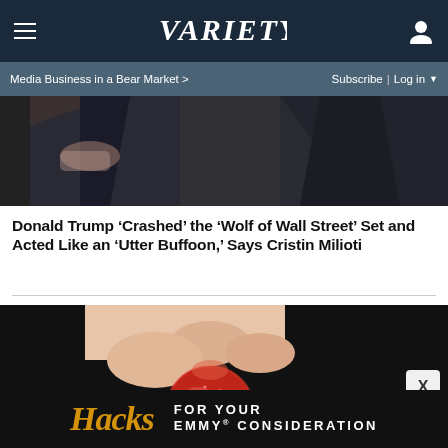VARIETY
Media Business in a Bear Market >
Subscribe | Log in
[Figure (photo): Two people in dark suits seated, partial view]
Donald Trump ‘Crashed’ the ‘Wolf of Wall Street’ Set and Acted Like an ‘Utter Buffoon,’ Says Cristin Milioti
[Figure (photo): Close-up of fingers holding a red sugary candy gummy against a dark background]
[Figure (advertisement): Hacks - For Your Emmy Consideration advertisement banner in black background with gold Hacks logo and white text]